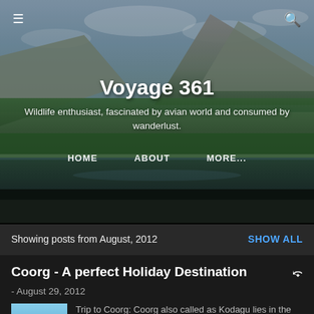[Figure (photo): Hero banner with mountain landscape, lake reflection, forested slopes, and cloudy sky]
Voyage 361
Wildlife enthusiast, fascinated by avian world and consumed by wanderlust.
HOME   ABOUT   MORE...
Showing posts from August, 2012   SHOW ALL
Coorg - A perfect Holiday Destination
- August 29, 2012
Trip to Coorg: Coorg also called as Kodagu lies in the Western Ghats of Karnataka with